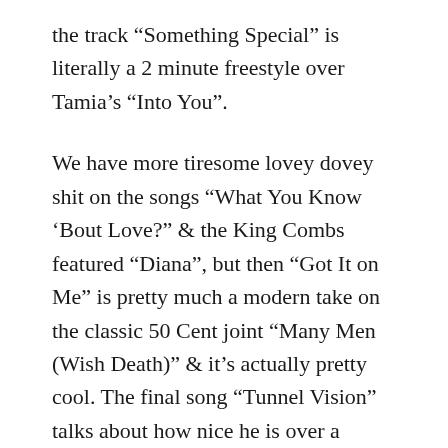the track “Something Special” is literally a 2 minute freestyle over Tamia’s “Into You”.
We have more tiresome lovey dovey shit on the songs “What You Know ‘Bout Love?” & the King Combs featured “Diana”, but then “Got It on Me” is pretty much a modern take on the classic 50 Cent joint “Many Men (Wish Death)” & it’s actually pretty cool. The final song “Tunnel Vision” talks about how nice he is over a mesmerizing instrumental & then we get “Dior” off Meet the Woo as a bonus track, which is easily one of the best songs he ever made.
I’m usually 50/50 on posthumous releases because they can either turn out amazing like Circles or end up horrendously like Pac’s Life. However, this kinda falls